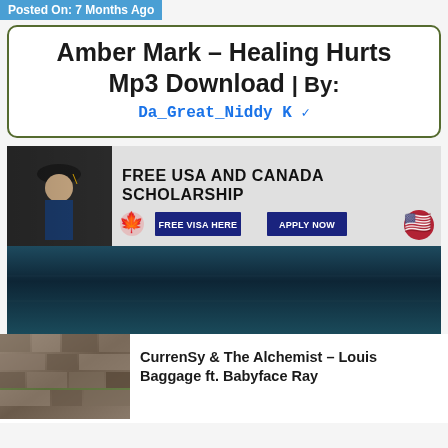Posted On: 7 Months Ago
Amber Mark – Healing Hurts Mp3 Download | By: Da_Great_Niddy K ✔
[Figure (photo): Advertisement banner for Free USA and Canada Scholarship with graduate photo, Canadian and US flags, FREE VISA HERE and APPLY NOW buttons]
[Figure (photo): Dark teal/blue music player banner]
CurrenSy & The Alchemist – Louis Baggage ft. Babyface Ray